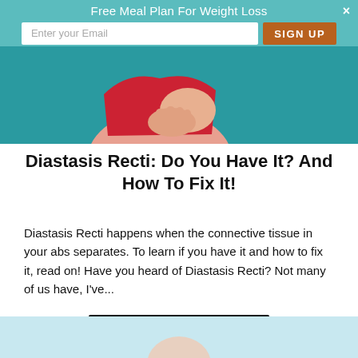Free Meal Plan For Weight Loss
[Figure (photo): Woman in red top grabbing belly/abs area against teal background]
Diastasis Recti: Do You Have It? And How To Fix It!
Diastasis Recti happens when the connective tissue in your abs separates. To learn if you have it and how to fix it, read on! Have you heard of Diastasis Recti? Not many of us have, I've...
CONTINUE READING
[Figure (photo): Bottom partial image with light blue background showing person]